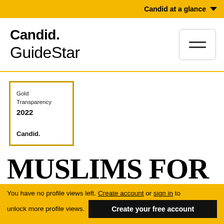Candid at a glance
Candid.
GuideStar
[Figure (logo): Candid GuideStar logo with hamburger menu button]
[Figure (other): Gold Transparency 2022 Candid. badge]
MUSLIMS FOR PROGRESSIVE
You have no profile views left. Create account or sign in to unlock more profile views.
Create your free account